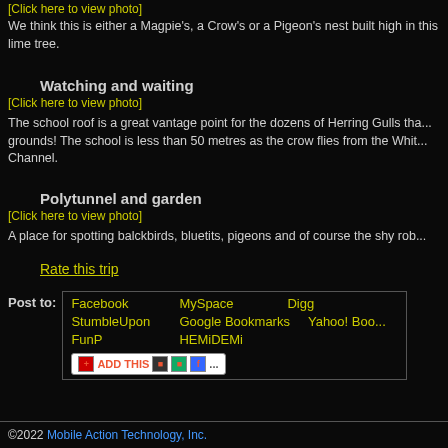[Click here to view photo]
We think this is either a Magpie's, a Crow's or a Pigeon's nest built high in this lime tree.
Watching and waiting
[Click here to view photo]
The school roof is a great vantage point for the dozens of Herring Gulls that... grounds! The school is less than 50 metres as the crow flies from the Whi... Channel.
Polytunnel and garden
[Click here to view photo]
A place for spotting balckbirds, bluetits, pigeons and of course the shy rob...
Rate this trip
Post to: Facebook MySpace Digg StumbleUpon Google Bookmarks Yahoo! Boo... FunP HEMiDEMi
©2022 Mobile Action Technology, Inc.